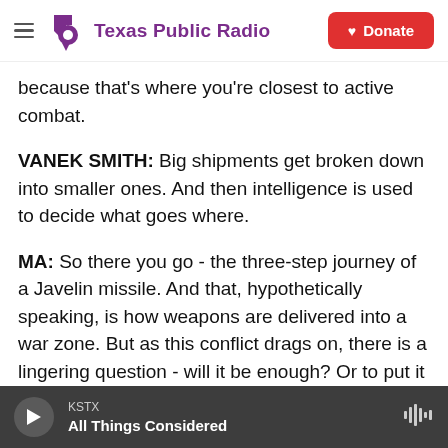Texas Public Radio | Donate
because that's where you're closest to active combat.
VANEK SMITH: Big shipments get broken down into smaller ones. And then intelligence is used to decide what goes where.
MA: So there you go - the three-step journey of a Javelin missile. And that, hypothetically speaking, is how weapons are delivered into a war zone. But as this conflict drags on, there is a lingering question - will it be enough? Or to put it in logistics terms, will enough of the right equipment get to the
KSTX | All Things Considered